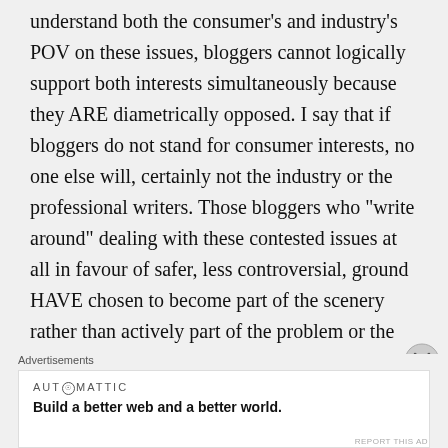understand both the consumer's and industry's POV on these issues, bloggers cannot logically support both interests simultaneously because they ARE diametrically opposed. I say that if bloggers do not stand for consumer interests, no one else will, certainly not the industry or the professional writers. Those bloggers who “write around” dealing with these contested issues at all in favour of safer, less controversial, ground HAVE chosen to become part of the scenery rather than actively part of the problem or the solution
Advertisements
[Figure (other): Automattic advertisement banner: logo reading AUT@MATTIC and tagline 'Build a better web and a better world.']